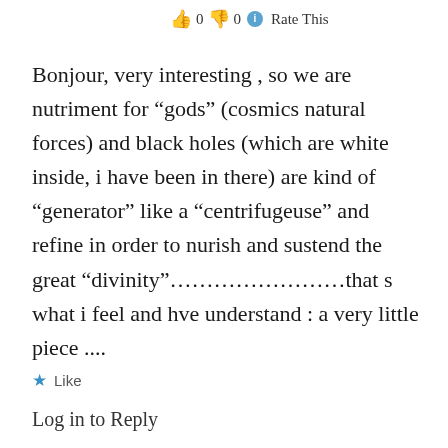👍 0 👎 0 ℹ Rate This
Bonjour, very interesting , so we are nutriment for “gods” (cosmics natural forces) and black holes (which are white inside, i have been in there) are kind of “generator” like a “centrifugeuse” and refine in order to nurish and sustend the great “divinity”………………………that s what i feel and hve understand : a very little piece ....
★ Like
Log in to Reply